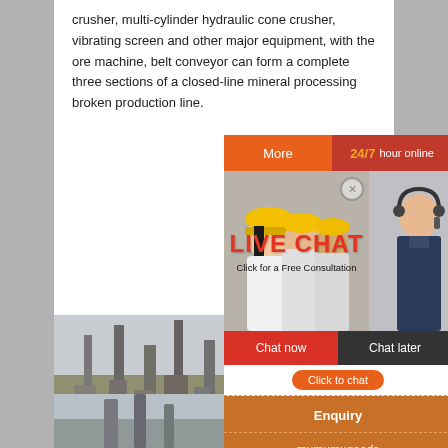crusher, multi-cylinder hydraulic cone crusher, vibrating screen and other major equipment, with the ore machine, belt conveyor can form a complete three sections of a closed-line mineral processing broken production line.
[Figure (infographic): Live chat advertisement widget with workers in hard hats photo, '24/7 hour online' header bar, 'More' orange button, 'LIVE CHAT - Click for a Free Consultation' overlay, 'Chat now' red button, 'Chat later' dark button, 'Click to chat' orange pill button, 'Enquiry' and 'mumumugoods@gmail.com' orange box on right side. Below: industrial factory/crusher plant photo.]
[Figure (photo): Industrial plant/factory with tall silos and cranes in a dusty environment.]
[Figure (photo): Another industrial facility partially visible at the bottom of the page.]